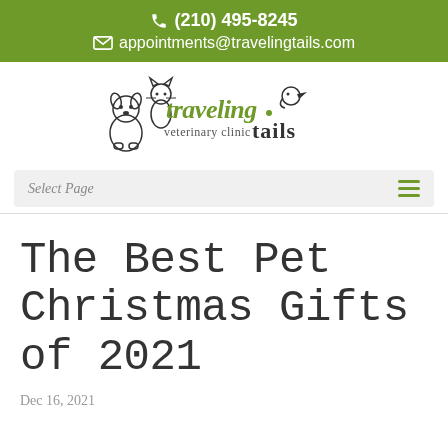(210) 495-8245  appointments@travelingtails.com
[Figure (logo): Traveling Tails Veterinary Clinic logo with illustrated dog, cat, and bird, text reads 'traveling veterinary clinic tails']
Select Page
The Best Pet Christmas Gifts of 2021
Dec 16, 2021